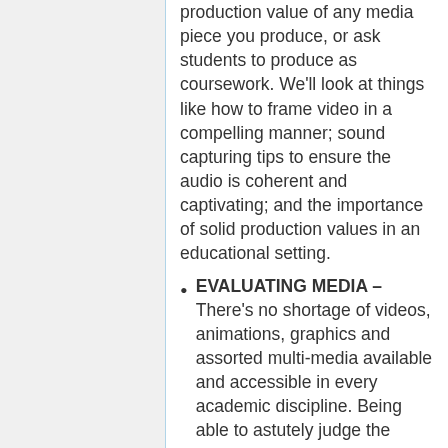production value of any media piece you produce, or ask students to produce as coursework. We'll look at things like how to frame video in a compelling manner; sound capturing tips to ensure the audio is coherent and captivating; and the importance of solid production values in an educational setting.
EVALUATING MEDIA – There's no shortage of videos, animations, graphics and assorted multi-media available and accessible in every academic discipline. Being able to astutely judge the usability when choosing which third party media to